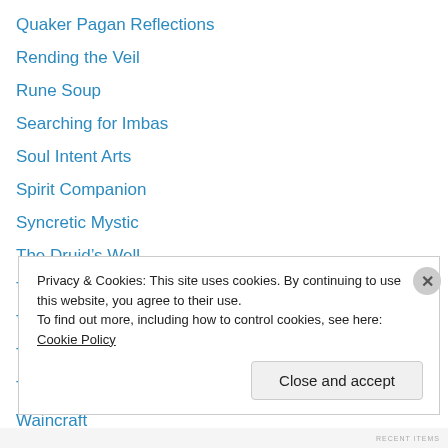Quaker Pagan Reflections
Rending the Veil
Rune Soup
Searching for Imbas
Soul Intent Arts
Spirit Companion
Syncretic Mystic
The Druid’s Well
The Exploratory Druid
The Night Wanderer’s Path
The Totemist
The Wild Hunt
Waincraft
Privacy & Cookies: This site uses cookies. By continuing to use this website, you agree to their use. To find out more, including how to control cookies, see here: Cookie Policy
Close and accept